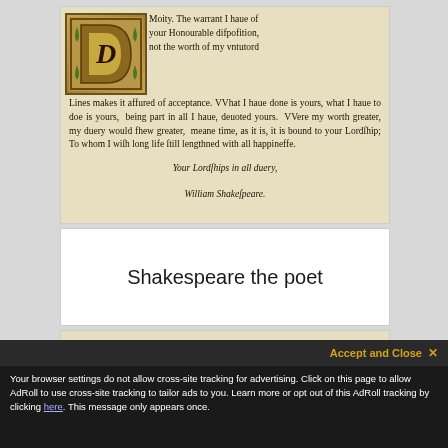[Figure (photo): Scan of an early printed manuscript page showing a decorative drop capital letter and old English text beginning 'Moity. The warrant I haue of your Honourable disposition...' signed 'William Shakespeare.' in italic script.]
Shakespeare the poet
[Figure (photo): Scan of a handwritten legal indenture document in secretary hand script, beginning 'his Indenture made' with dense cursive handwriting below.]
Your browser settings do not allow cross-site tracking for advertising. Click on this page to allow AdRoll to use cross-site tracking to tailor ads to you. Learn more or opt out of this AdRoll tracking by clicking here. This message only appears once.